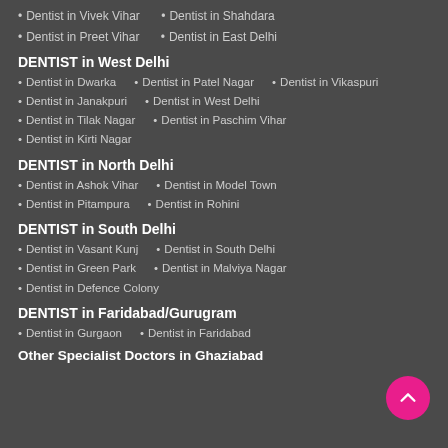• Dentist in Vivek Vihar  • Dentist in Shahdara
• Dentist in Preet Vihar  • Dentist in East Delhi
DENTIST in West Delhi
• Dentist in Dwarka  • Dentist in Patel Nagar  • Dentist in Vikaspuri
• Dentist in Janakpuri  • Dentist in West Delhi
• Dentist in Tilak Nagar  • Dentist in Paschim Vihar
• Dentist in Kirti Nagar
DENTIST in North Delhi
• Dentist in Ashok Vihar  • Dentist in Model Town
• Dentist in Pitampura  • Dentist in Rohini
DENTIST in South Delhi
• Dentist in Vasant Kunj  • Dentist in South Delhi
• Dentist in Green Park  • Dentist in Malviya Nagar
• Dentist in Defence Colony
DENTIST in Faridabad/Gurugram
• Dentist in Gurgaon  • Dentist in Faridabad
Other Specialist Doctors in Ghaziabad